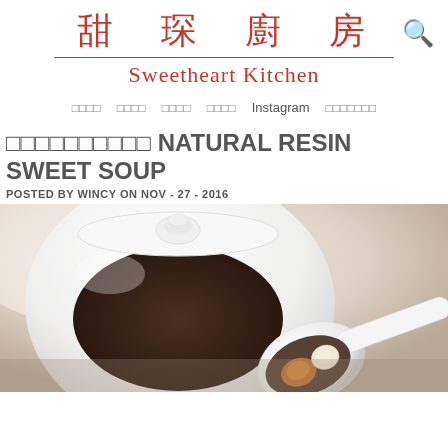甜琛廚房 Sweetheart Kitchen
□□□□  □□□□  □□□□  □□□□  Instagram  □□□□□□□
□□□□□□□□□□  NATURAL RESIN SWEET SOUP
POSTED BY WINCY ON NOV - 27 - 2016
[Figure (photo): A white ceramic pot with lid and a white ceramic spoon containing dark sweet soup with resin pieces and longan]